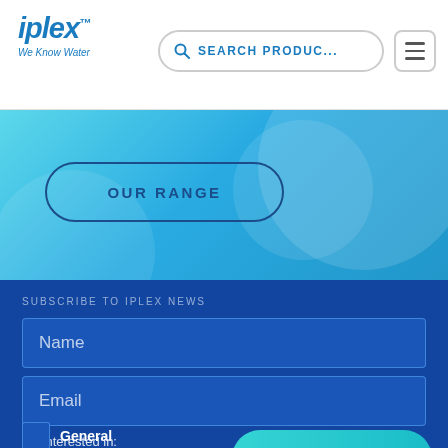[Figure (logo): Iplex logo with 'We Know Water' tagline in blue italic text]
[Figure (screenshot): Search products input bar with magnifying glass icon]
[Figure (screenshot): Hamburger menu button with three horizontal lines]
[Figure (illustration): Teal/cyan gradient hero banner with decorative circles and OUR RANGE button]
OUR RANGE
SUBSCRIBE TO IPLEX NEWS
Name
Email
ENQUIRE
I'm interested in:
General